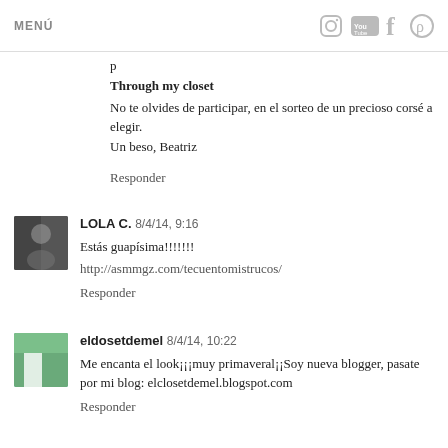MENÚ
p
Through my closet
No te olvides de participar, en el sorteo de un precioso corsé a elegir.
Un beso, Beatriz
Responder
LOLA C.  8/4/14, 9:16
Estás guapísima!!!!!!!
http://asmmgz.com/tecuentomistrucos/
Responder
eldosetdemel  8/4/14, 10:22
Me encanta el look¡¡¡muy primaveral¡¡Soy nueva blogger, pasate por mi blog: elclosetdemel.blogspot.com
Responder